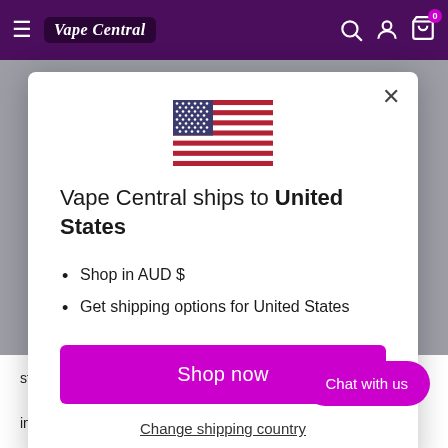Vape Central
[Figure (screenshot): US flag SVG icon]
Vape Central ships to United States
Shop in AUD $
Get shipping options for United States
Shop now
Change shipping country
store credit card details nor have access to information.
Chat with us